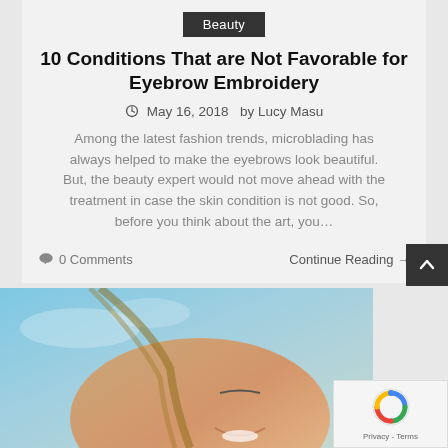Beauty
10 Conditions That are Not Favorable for Eyebrow Embroidery
May 16, 2018   by Lucy Masu
Among the latest fashion trends, microblading has always helped to make the eyebrows look beautiful. But, the beauty expert would not move ahead with the treatment in case the skin condition is not good. So, before you think about the art, you…
0 Comments
Continue Reading →
[Figure (photo): Partial view of a smiling woman's face against a blue sky background]